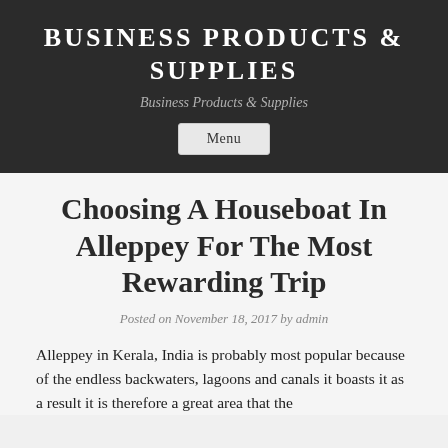BUSINESS PRODUCTS & SUPPLIES
Business Products & Supplies
Menu
Choosing A Houseboat In Alleppey For The Most Rewarding Trip
Posted on November 18, 2017 by admin
Alleppey in Kerala, India is probably most popular because of the endless backwaters, lagoons and canals it boasts it as a result it is therefore a great area that the